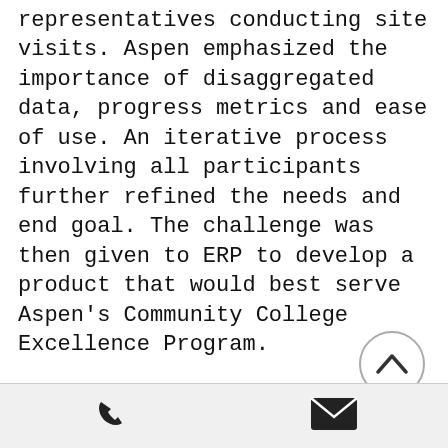representatives conducting site visits. Aspen emphasized the importance of disaggregated data, progress metrics and ease of use. An iterative process involving all participants further refined the needs and end goal. The challenge was then given to ERP to develop a product that would best serve Aspen's Community College Excellence Program.

As a result, ERP created a customized, highly sophisticated, private and secure data 'dashboard,' an information management tool that visually
[Figure (other): A circular scroll-to-top button with an upward chevron arrow icon]
Phone icon | Email icon